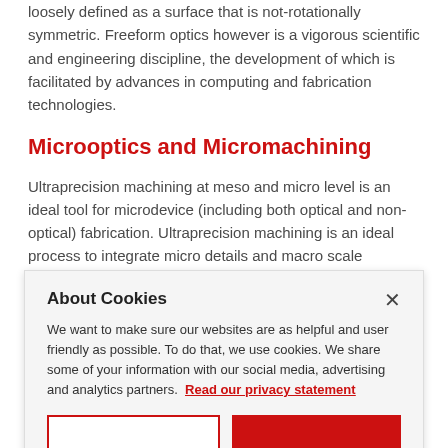loosely defined as a surface that is not-rotationally symmetric. Freeform optics however is a vigorous scientific and engineering discipline, the development of which is facilitated by advances in computing and fabrication technologies.
Microoptics and Micromachining
Ultraprecision machining at meso and micro level is an ideal tool for microdevice (including both optical and non-optical) fabrication. Ultraprecision machining is an ideal process to integrate micro details and macro scale substrates thereby providing a complete system
About Cookies
We want to make sure our websites are as helpful and user friendly as possible. To do that, we use cookies. We share some of your information with our social media, advertising and analytics partners. Read our privacy statement